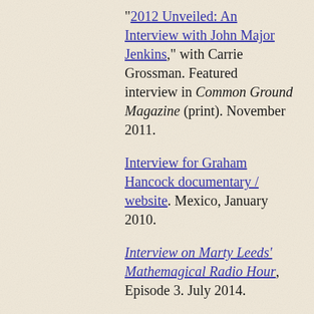"2012 Unveiled: An Interview with John Major Jenkins," with Carrie Grossman. Featured interview in Common Ground Magazine (print). November 2011.
Interview for Graham Hancock documentary / website. Mexico, January 2010.
Interview on Marty Leeds' Mathemagical Radio Hour, Episode 3. July 2014.